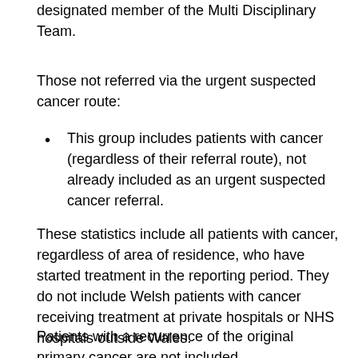designated member of the Multi Disciplinary Team.
Those not referred via the urgent suspected cancer route:
This group includes patients with cancer (regardless of their referral route), not already included as an urgent suspected cancer referral.
These statistics include all patients with cancer, regardless of area of residence, who have started treatment in the reporting period. They do not include Welsh patients with cancer receiving treatment at private hospitals or NHS hospitals outside Wales.
Patients with a recurrence of the original primary cancer are not included.